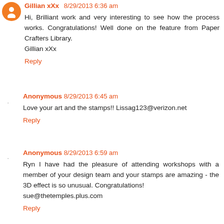Gillian xXx 8/29/2013 6:36 am
Hi, Brilliant work and very interesting to see how the process works. Congratulations! Well done on the feature from Paper Crafters Library.
Gillian xXx
Reply
Anonymous 8/29/2013 6:45 am
Love your art and the stamps!! Lissag123@verizon.net
Reply
Anonymous 8/29/2013 6:59 am
Ryn I have had the pleasure of attending workshops with a member of your design team and your stamps are amazing - the 3D effect is so unusual. Congratulations!
sue@thetemples.plus.com
Reply